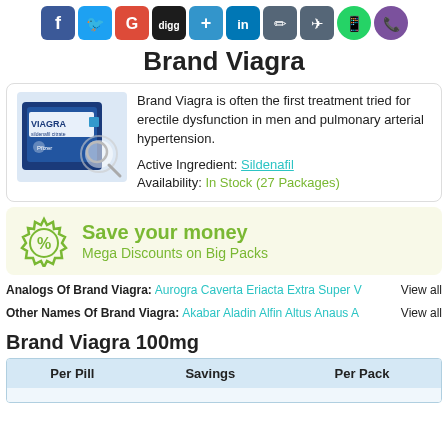[Figure (infographic): Row of social media sharing icons: Facebook, Twitter, Google+, Digg, Delicious, LinkedIn, Pinterest, Flattr, WhatsApp, Viber]
Brand Viagra
Brand Viagra is often the first treatment tried for erectile dysfunction in men and pulmonary arterial hypertension.
Active Ingredient: Sildenafil
Availability: In Stock (27 Packages)
[Figure (photo): Photo of Brand Viagra pill box packaging with magnifying glass]
Save your money
Mega Discounts on Big Packs
Analogs Of Brand Viagra: Aurogra Caverta Eriacta Extra Super V... View all
Other Names Of Brand Viagra: Akabar Aladin Alfin Altus Anaus A... View all
Brand Viagra 100mg
| Per Pill | Savings | Per Pack |
| --- | --- | --- |